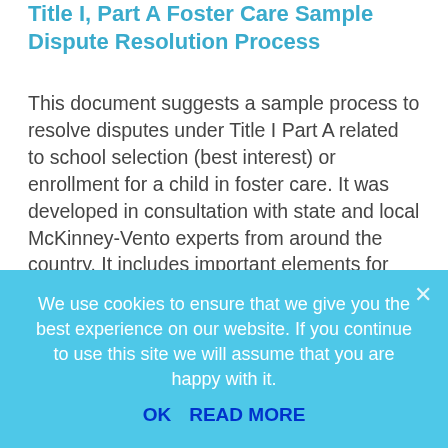Title I, Part A Foster Care Sample Dispute Resolution Process
This document suggests a sample process to resolve disputes under Title I Part A related to school selection (best interest) or enrollment for a child in foster care. It was developed in consultation with state and local McKinney-Vento experts from around the country. It includes important elements for timely and fair dispute resolution and adheres to the legal requirements of the Every Student Succeeds Act. While state and local education agencies (SEAs and LEAs) are welcome to adopt this process in its totality, many
We use cookies to ensure that we give you the best experience on our website. If you continue to use this site we will assume that you are happy with it.